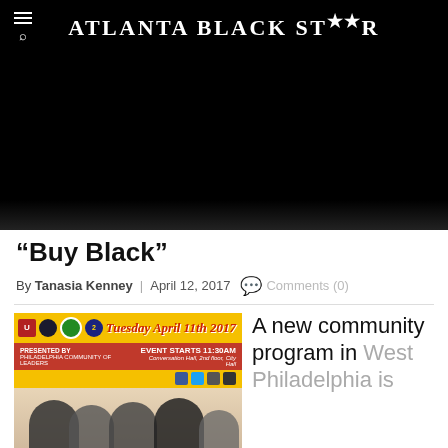Atlanta Black Star
[Figure (photo): Black hero image area, partially visible article image]
"Buy Black"
By Tanasia Kenney | April 12, 2017  Comments (0)
[Figure (photo): Event flyer for Tuesday April 11th 2017, Philadelphia Community of Leaders event at Conversation Hall, 2nd floor, City Hall. EVENT STARTS 11:30AM. Shows group of people.]
A new community program in West Philadelphia is